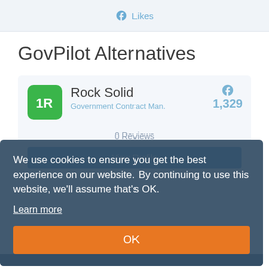Likes
GovPilot Alternatives
[Figure (logo): Rock Solid app icon — green rounded square with white '1R' lettering]
Rock Solid
Government Contract Man.
1,329
0 Reviews
View Profile
We use cookies to ensure you get the best experience on our website. By continuing to use this website, we'll assume that's OK.
Learn more
OK